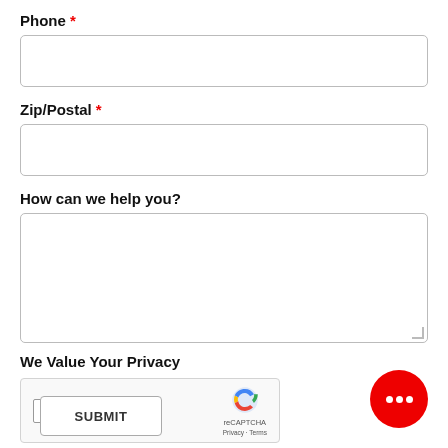Phone *
[Figure (other): Empty text input field for Phone]
Zip/Postal *
[Figure (other): Empty text input field for Zip/Postal]
How can we help you?
[Figure (other): Empty textarea input for How can we help you?]
We Value Your Privacy
[Figure (other): reCAPTCHA widget with checkbox labeled I'm not a robot]
[Figure (other): SUBMIT button partially visible at bottom]
[Figure (other): Red circular chat widget with three dots in bottom right corner]